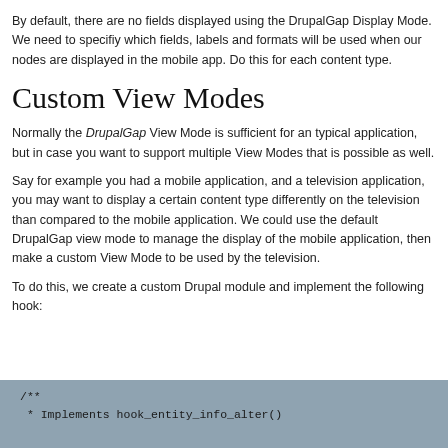By default, there are no fields displayed using the DrupalGap Display Mode. We need to specifiy which fields, labels and formats will be used when our nodes are displayed in the mobile app. Do this for each content type.
Custom View Modes
Normally the DrupalGap View Mode is sufficient for an typical application, but in case you want to support multiple View Modes that is possible as well.
Say for example you had a mobile application, and a television application, you may want to display a certain content type differently on the television than compared to the mobile application. We could use the default DrupalGap view mode to manage the display of the mobile application, then make a custom View Mode to be used by the television.
To do this, we create a custom Drupal module and implement the following hook:
[Figure (screenshot): Code block with blue-grey background showing a PHP comment: /** * Implements hook_entity_info_alter()]